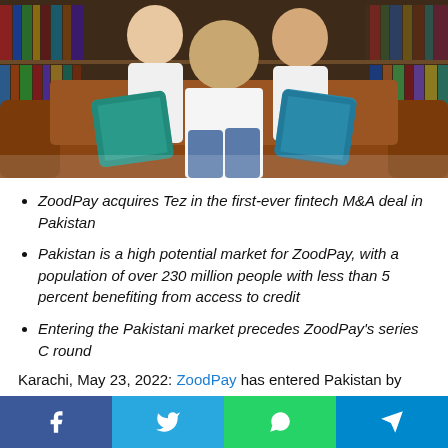[Figure (photo): Three people seated/standing on a leather sofa in front of bookshelves. The central figure is an older man in a white shirt sitting with legs crossed. Two younger people stand behind him. Teal/blue checkered cushions are visible.]
ZoodPay acquires Tez in the first-ever fintech M&A deal in Pakistan
Pakistan is a high potential market for ZoodPay, with a population of over 230 million people with less than 5 percent benefiting from access to credit
Entering the Pakistani market precedes ZoodPay's series C round
Karachi, May 23, 2022: ZoodPay has entered Pakistan by fully